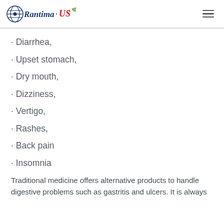Rantima·US [navigation logo and menu]
· Diarrhea,
· Upset stomach,
· Dry mouth,
· Dizziness,
· Vertigo,
· Rashes,
· Back pain
· Insomnia
Traditional medicine offers alternative products to handle digestive problems such as gastritis and ulcers. It is always